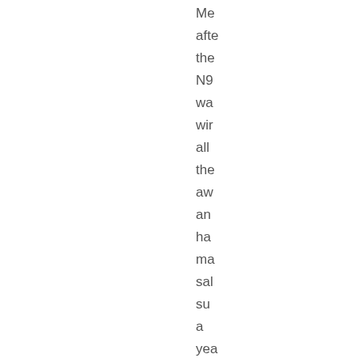Me
afte
the
N9
wa
wir
all
the
aw
an
ha
ma
sal
su
a
yea
ag